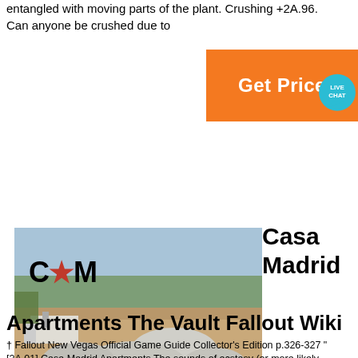entangled with moving parts of the plant. Crushing +2A.96. Can anyone be crushed due to
[Figure (other): Orange 'Get Price' button with a teal live chat speech bubble overlay]
[Figure (photo): Aerial/elevated view of a quarry or mining operation with piles of crushed stone, machinery, and surrounding bush landscape. CCM logo with red star overlaid in upper-left corner.]
Casa Madrid
Apartments The Vault Fallout Wiki
† Fallout New Vegas Official Game Guide Collector's Edition p.326-327 "[2A.01] Casa Madrid Apartments The sounds of ecstasy (or more likely, agony) emanate through the walls of this low-rent